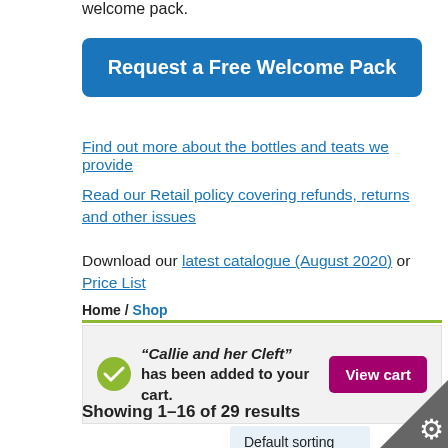welcome pack.
Request a Free Welcome Pack
Find out more about the bottles and teats we provide
Read our Retail policy covering refunds, returns and other issues
Download our latest catalogue (August 2020) or Price List
Home / Shop
“Callie and her Cleft” has been added to your cart.
View cart
Showing 1–16 of 29 results
Default sorting